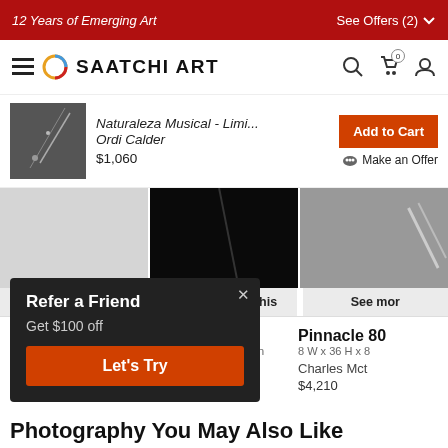12 Years of Emerging Art | See Offers (2)
[Figure (logo): Saatchi Art logo with navigation icons]
[Figure (photo): Product thumbnail: Naturaleza Musical - Limi... by Ordi Calder]
Naturaleza Musical - Limi...
Ordi Calder
$1,060
Add to Cart
Make an Offer
[Figure (photo): Three artwork images in a row]
See more like this | See more like this | See more
Stitches
31.5 W x 47.3 H x 1.1 D in
Marie Four
11 W x 14 H x 0.3 D in
Andrea Paolino
$340
Pinnacle 80
8 W x 36 H x 8
Charles Mct
$4,210
[Figure (screenshot): Refer a Friend popup: Get $100 off, Let's Try button]
Photography You May Also Like